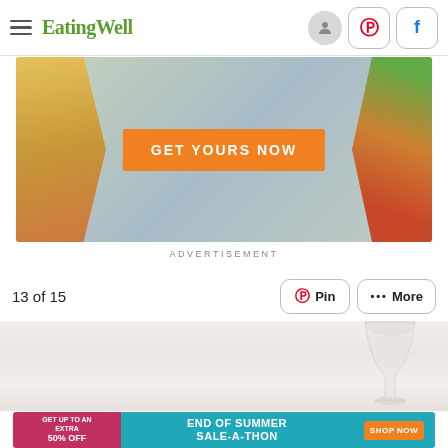EatingWell
[Figure (photo): Advertisement banner with orange GET YOURS NOW button over food background]
ADVERTISEMENT
13 of 15
[Figure (photo): Food photo showing a glass goblet and plate with fork on light background]
[Figure (photo): Advertisement banner: GET UP TO AN EXTRA 50% OFF END OF SUMMER SALE-A-THON SHOP NOW]